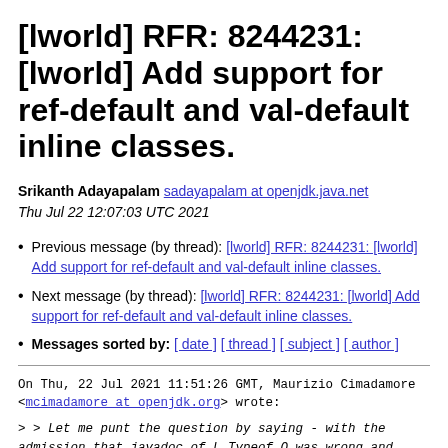[lworld] RFR: 8244231: [lworld] Add support for ref-default and val-default inline classes.
Srikanth Adayapalam sadayapalam at openjdk.java.net
Thu Jul 22 12:07:03 UTC 2021
Previous message (by thread): [lworld] RFR: 8244231: [lworld] Add support for ref-default and val-default inline classes.
Next message (by thread): [lworld] RFR: 8244231: [lworld] Add support for ref-default and val-default inline classes.
Messages sorted by: [ date ] [ thread ] [ subject ] [ author ]
On Thu, 22 Jul 2021 11:51:26 GMT, Maurizio Cimadamore <mcimadamore at openjdk.org> wrote:
> > Let me punt the question by saying - with the admission that javadoc of L_Typeof_Q was wrong and confusing, do we agree that once that is corrected, the